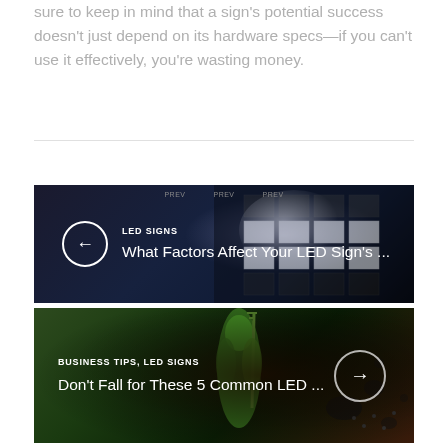sure to keep in mind that a sign's potential success doesn't just depend on its hardware specs—if you can't use it effectively, you're wasting money.
[Figure (screenshot): Dark navigation card with LED sign image background showing a building with LED panels and a glowing light source. Left arrow button in circle. Text reads 'LED SIGNS' and 'What Factors Affect Your LED Sign's ...']
[Figure (screenshot): Dark card with illustrated green Greek/Roman statue holding a trident against black splatter art background. Text reads 'BUSINESS TIPS, LED SIGNS' and 'Don't Fall for These 5 Common LED ...' with right arrow button in circle.]